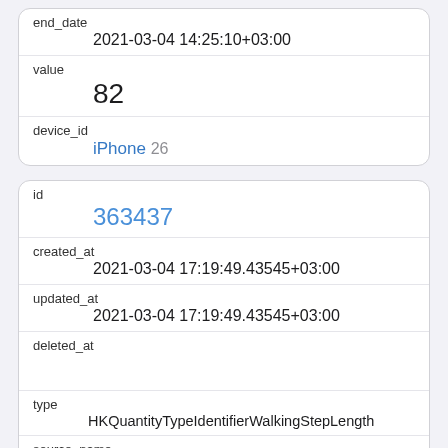| end_date | 2021-03-04 14:25:10+03:00 |
| value | 82 |
| device_id | iPhone 26 |
| id | 363437 |
| created_at | 2021-03-04 17:19:49.43545+03:00 |
| updated_at | 2021-03-04 17:19:49.43545+03:00 |
| deleted_at |  |
| type | HKQuantityTypeIdentifierWalkingStepLength |
| source_name | iPhone (Vsevolod) |
| source_version |  |